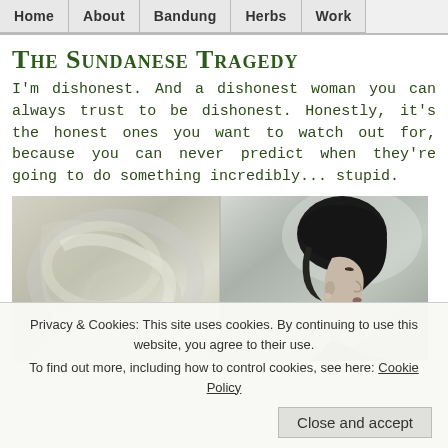Home | About | Bandung | Herbs | Work
The Sundanese Tragedy
I'm dishonest. And a dishonest woman you can always trust to be dishonest. Honestly, it's the honest ones you want to watch out for, because you can never predict when they're going to do something incredibly... stupid.
[Figure (photo): A woman in profile facing right with dark hair, desaturated photo with light background; left half shows abstract pale texture/feathers.]
Privacy & Cookies: This site uses cookies. By continuing to use this website, you agree to their use.
To find out more, including how to control cookies, see here: Cookie Policy
Close and accept